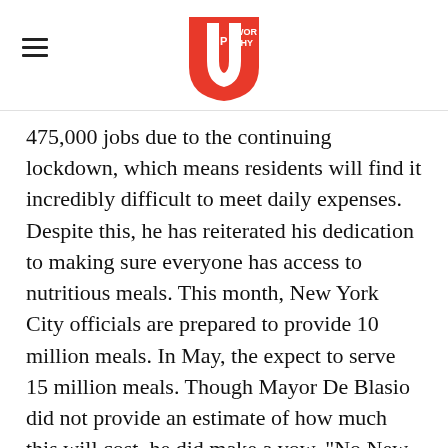Upworthy logo and navigation
475,000 jobs due to the continuing lockdown, which means residents will find it incredibly difficult to meet daily expenses. Despite this, he has reiterated his dedication to making sure everyone has access to nutritious meals. This month, New York City officials are prepared to provide 10 million meals. In May, the expect to serve 15 million meals. Though Mayor De Blasio did not provide an estimate of how much this will cost, he did make a vow. "No New Yorker will go hungry," he declared. "Your city will provide." No